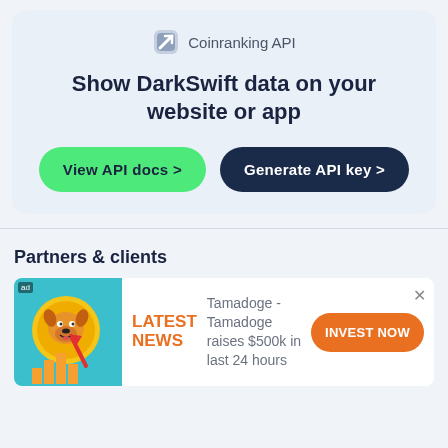[Figure (logo): Coinranking API logo with diagonal brush/pencil icon and text 'Coinranking API']
Show DarkSwift data on your website or app
View API docs >
Generate API key >
Partners & clients
[Figure (illustration): Cartoon dog coin with upward red arrow and orange bar chart on teal background]
LATEST NEWS
Tamadoge - Tamadoge raises $500k in last 24 hours
INVEST NOW